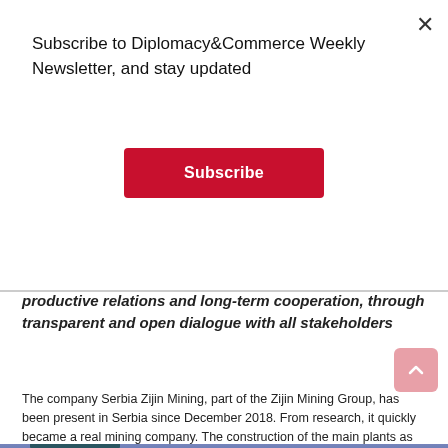Subscribe to Diplomacy&Commerce Weekly Newsletter, and stay updated
Subscribe
productive relations and long-term cooperation, through transparent and open dialogue with all stakeholders
The company Serbia Zijin Mining, part of the Zijin Mining Group, has been present in Serbia since December 2018. From research, it quickly became a real mining company. The construction of the main plants as well as the accompanying mining facilities, during which the process technology, industrial equipment and technical performance indicators were set at a high international level, lasted two years, and production began in 2021.
[Figure (photo): Bottom edge of a building with teal/green facade against a purple-blue dusk sky]